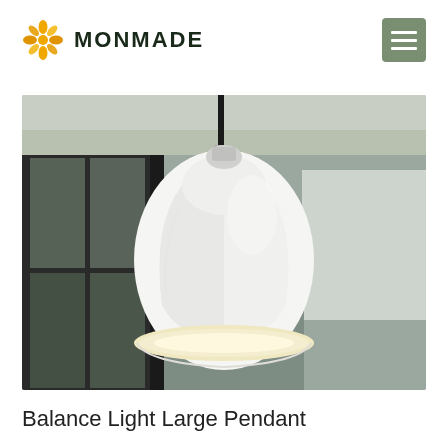MONMADE
[Figure (photo): A white ceramic or porcelain large pendant light hanging from a black cord against a blurred background of large windows and architectural ceiling, glowing warm light visible from the bottom opening of the shade.]
Balance Light Large Pendant